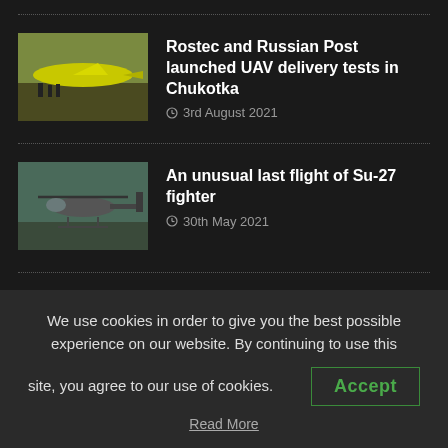[Figure (photo): Yellow aircraft with people standing near it on a runway]
Rostec and Russian Post launched UAV delivery tests in Chukotka
3rd August 2021
[Figure (photo): Military helicopter (possibly Mi-26) in flight over airfield]
An unusual last flight of Su-27 fighter
30th May 2021
AFTERBURNER ON FACEBOOK
We use cookies in order to give you the best possible experience on our website. By continuing to use this site, you agree to our use of cookies.
Accept
Read More